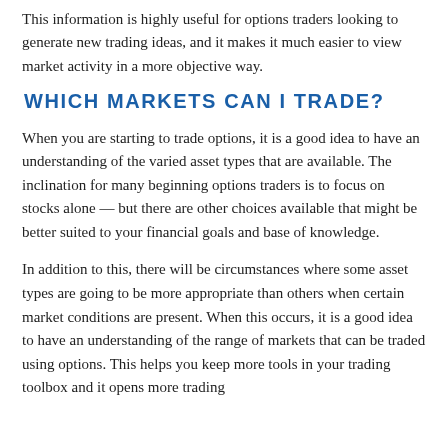This information is highly useful for options traders looking to generate new trading ideas, and it makes it much easier to view market activity in a more objective way.
WHICH MARKETS CAN I TRADE?
When you are starting to trade options, it is a good idea to have an understanding of the varied asset types that are available. The inclination for many beginning options traders is to focus on stocks alone — but there are other choices available that might be better suited to your financial goals and base of knowledge.
In addition to this, there will be circumstances where some asset types are going to be more appropriate than others when certain market conditions are present. When this occurs, it is a good idea to have an understanding of the range of markets that can be traded using options. This helps you keep more tools in your trading toolbox and it opens more trading...